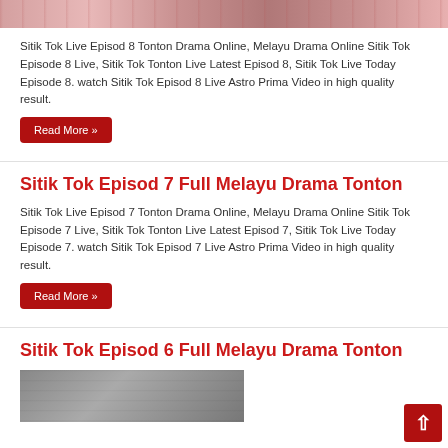[Figure (photo): Partial top image strip, appears to show drama/TV show imagery in pinkish-red tones]
Sitik Tok Live Episod 8 Tonton Drama Online, Melayu Drama Online Sitik Tok Episode 8 Live, Sitik Tok Tonton Live Latest Episod 8, Sitik Tok Live Today Episode 8. watch Sitik Tok Episod 8 Live Astro Prima Video in high quality result.
Read More »
Sitik Tok Episod 7 Full Melayu Drama Tonton
Sitik Tok Live Episod 7 Tonton Drama Online, Melayu Drama Online Sitik Tok Episode 7 Live, Sitik Tok Tonton Live Latest Episod 7, Sitik Tok Live Today Episode 7. watch Sitik Tok Episod 7 Live Astro Prima Video in high quality result.
Read More »
Sitik Tok Episod 6 Full Melayu Drama Tonton
[Figure (photo): Partial bottom image strip showing people, appears to be a scene from a Malay drama]